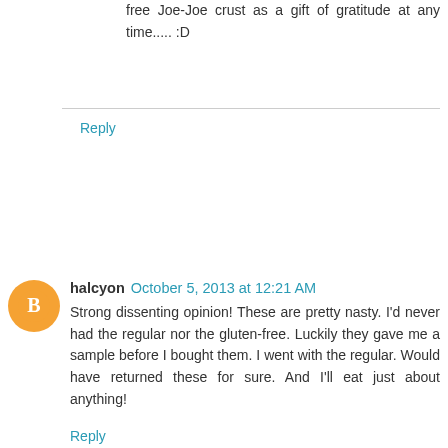free Joe-Joe crust as a gift of gratitude at any time..... :D
Reply
halcyon  October 5, 2013 at 12:21 AM
Strong dissenting opinion! These are pretty nasty. I'd never had the regular nor the gluten-free. Luckily they gave me a sample before I bought them. I went with the regular. Would have returned these for sure. And I'll eat just about anything!
Reply
Anonymous  October 18, 2013 at 2:18 PM
Funny you gave these cookies a 10 out of 10, because my official food taster gave it a zero. I sent my hubby on a grocery shopping adventure and he back with one of these instead of the regular ones. He did not realize there was a difference at retail, he later learned from one of our local...